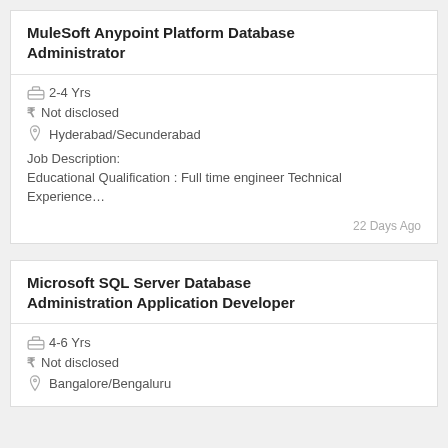MuleSoft Anypoint Platform Database Administrator
2-4 Yrs
Not disclosed
Hyderabad/Secunderabad
Job Description:
Educational Qualification : Full time engineer Technical Experience…
22 Days Ago
Microsoft SQL Server Database Administration Application Developer
4-6 Yrs
Not disclosed
Bangalore/Bengaluru